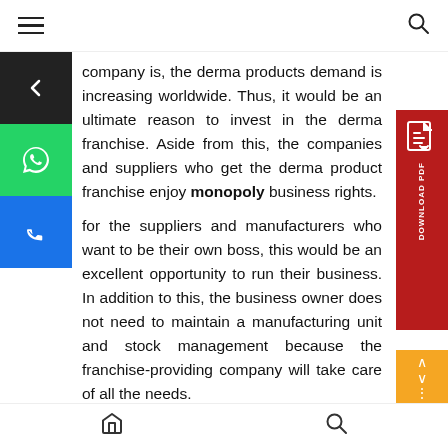Navigation header with hamburger menu and search icon
company is, the derma products demand is increasing worldwide. Thus, it would be an ultimate reason to invest in the derma franchise. Aside from this, the companies and suppliers who get the derma product franchise enjoy monopoly business rights.
for the suppliers and manufacturers who want to be their own boss, this would be an excellent opportunity to run their business. In addition to this, the business owner does not need to maintain a manufacturing unit and stock management because the franchise-providing company will take care of all the needs.
Bottom navigation bar with home and search icons